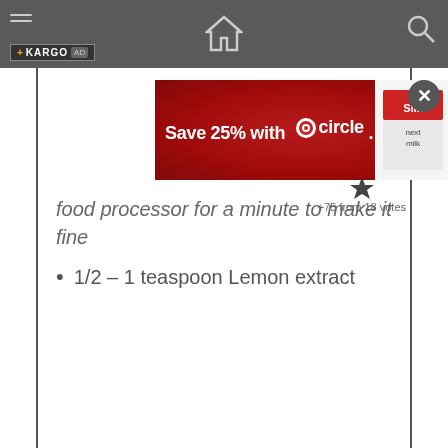[Figure (screenshot): Top navigation bar with home icon, search icon, hamburger menu, and KARGO AD badge]
[Figure (infographic): Target Circle advertisement banner: Save 25% with Target circle, featuring Silk milk product and Target dog mascot]
food processor for a minute to make it fine
1/2 – 1 teaspoon Lemon extract